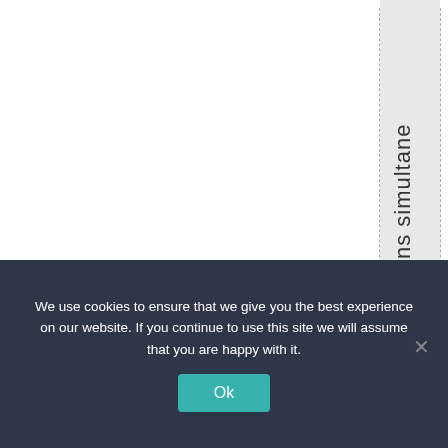[Figure (other): A table/layout with vertical text reading '3 stations simultane' rendered character-by-character vertically in a shaded column, with dashed vertical lines on either side.]
We use cookies to ensure that we give you the best experience on our website. If you continue to use this site we will assume that you are happy with it.